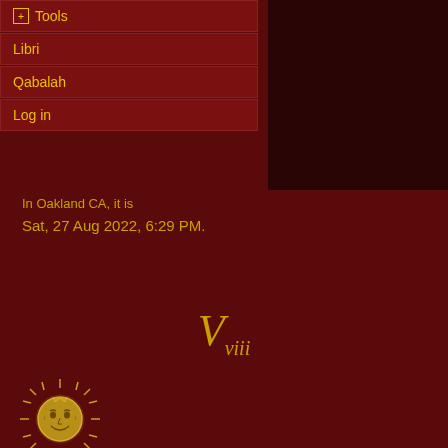+ Tools
Libri
Qabalah
Log in
In Oakland CA, it is
Sat, 27 Aug 2022, 6:29 PM.
V viii
[Figure (illustration): Decorative sun illustration with face, rays, and ornate style rendered in gold/cream tones on dark red background]
4° ♍
[Figure (illustration): Moon phase illustration showing a waning crescent/new moon, dark with slight illumination on right edge, on dark red background]
9° ♍